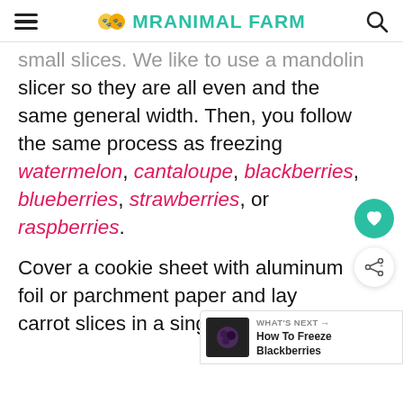MRANIMAL FARM
small slices. We like to use a mandolin slicer so they are all even and the same general width. Then, you follow the same process as freezing watermelon, cantaloupe, blackberries, blueberries, strawberries, or raspberries.
Cover a cookie sheet with aluminum foil or parchment paper and lay carrot slices in a single layer on top.